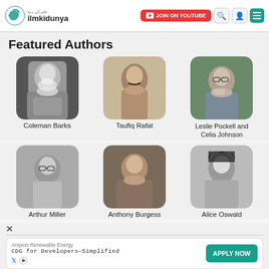ilmkidunya — JOIN ON YOUTUBE
Featured Authors
[Figure (photo): Black and white photo of Coleman Barks, older man with white beard and long hair, smiling]
Coleman Barks
[Figure (photo): Sepia vintage photo of Taufiq Rafat, young man with dark hair and mustache in profile view]
Taufiq Rafat
[Figure (photo): Color photo of Leslie Pockell and Celia Johnson, man with glasses with hand on chin]
Leslie Pockell and Celia Johnson
[Figure (photo): Black and white photo of Arthur Miller, elderly man with glasses]
Arthur Miller
[Figure (photo): Color photo of Anthony Burgess, older man in brown jacket speaking]
Anthony Burgess
[Figure (photo): Black and white photo of Alice Oswald, woman with dark hair looking at camera]
Alice Oswald
Ampion Renewable Energy CDG for Developers—Simplified APPLY NOW